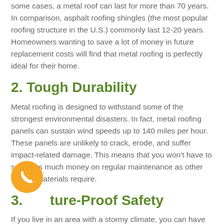some cases, a metal roof can last for more than 70 years. In comparison, asphalt roofing shingles (the most popular roofing structure in the U.S.) commonly last 12-20 years. Homeowners wanting to save a lot of money in future replacement costs will find that metal roofing is perfectly ideal for their home.
2. Tough Durability
Metal roofing is designed to withstand some of the strongest environmental disasters. In fact, metal roofing panels can sustain wind speeds up to 140 miles per hour. These panels are unlikely to crack, erode, and suffer impact-related damage. This means that you won't have to spend as much money on regular maintenance as other roofing materials require.
3. Nature-Proof Safety
If you live in an area with a stormy climate, you can have